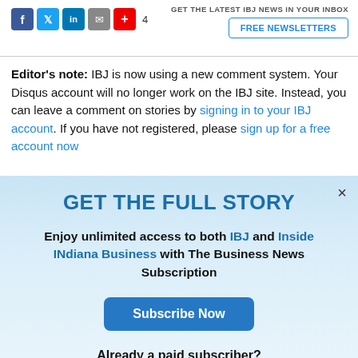GET THE LATEST IBJ NEWS IN YOUR INBOX | FREE NEWSLETTERS
Editor's note: IBJ is now using a new comment system. Your Disqus account will no longer work on the IBJ site. Instead, you can leave a comment on stories by signing in to your IBJ account. If you have not registered, please sign up for a free account now
GET THE FULL STORY
Enjoy unlimited access to both IBJ and Inside INdiana Business with The Business News Subscription
Subscribe Now
Already a paid subscriber?
Log In